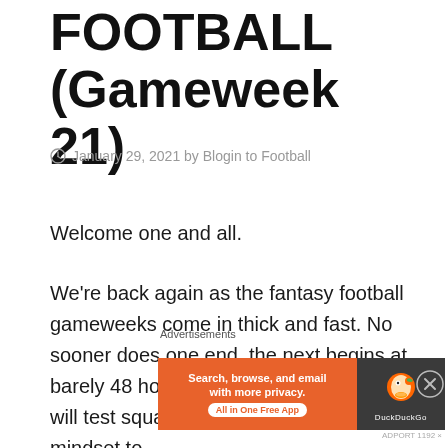FOOTBALL (Gameweek 21)
January 29, 2021 by Blogin to Football
Welcome one and all.
We're back again as the fantasy football gameweeks come in thick and fast. No sooner does one end, the next begins at barely 48 hours notice. It's superb stuff but will test squads, strategies and manager mindset to
[Figure (screenshot): DuckDuckGo advertisement banner with text 'Search, browse, and email with more privacy. All in One Free App' on orange background with DuckDuckGo logo on dark right panel]